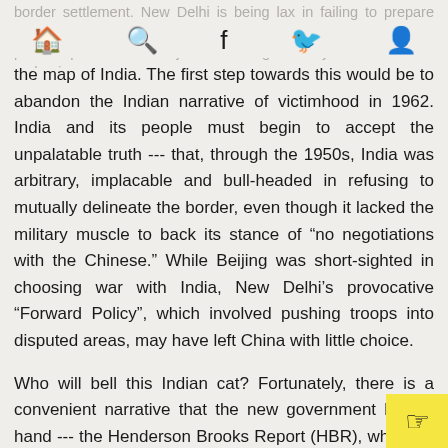border settlement. New Delhi is being lax in failing to prepare Indian public opinion for the jolt of ceding territory to China and reshaping
the map of India. The first step towards this would be to abandon the Indian narrative of victimhood in 1962. India and its people must begin to accept the unpalatable truth --- that, through the 1950s, India was arbitrary, implacable and bull-headed in refusing to mutually delineate the border, even though it lacked the military muscle to back its stance of “no negotiations with the Chinese.” While Beijing was short-sighted in choosing war with India, New Delhi’s provocative “Forward Policy”, which involved pushing troops into disputed areas, may have left China with little choice.
Who will bell this Indian cat? Fortunately, there is a convenient narrative that the new government has at hand --- the Henderson Brooks Report (HBR), which, in the aftermath of the 1962 defeat, scathingly indicted India’s politico-military leadership, blaming Indian miscalculation and incompetence more than Chinese devious…